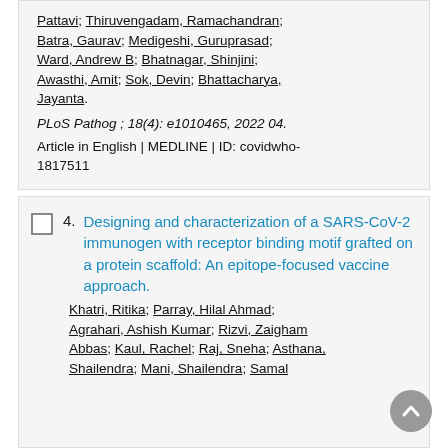Pattavi; Thiruvengadam, Ramachandran; Batra, Gaurav; Medigeshi, Guruprasad; Ward, Andrew B; Bhatnagar, Shinjini; Awasthi, Amit; Sok, Devin; Bhattacharya, Jayanta.
PLoS Pathog ; 18(4): e1010465, 2022 04.
Article in English | MEDLINE | ID: covidwho-1817511
4. Designing and characterization of a SARS-CoV-2 immunogen with receptor binding motif grafted on a protein scaffold: An epitope-focused vaccine approach.
Khatri, Ritika; Parray, Hilal Ahmad; Agrahari, Ashish Kumar; Rizvi, Zaigham Abbas; Kaul, Rachel; Raj, Sneha; Asthana, Shailendra; Mani, Shailendra; Samal